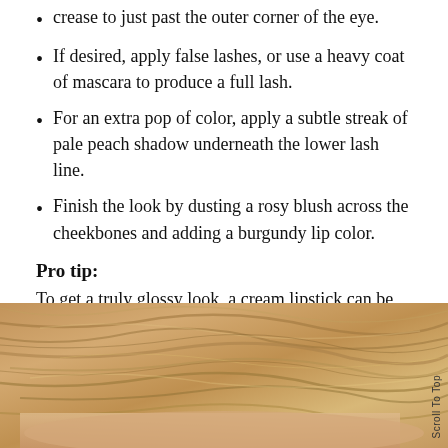crease to just past the outer corner of the eye.
If desired, apply false lashes, or use a heavy coat of mascara to produce a full lash.
For an extra pop of color, apply a subtle streak of pale peach shadow underneath the lower lash line.
Finish the look by dusting a rosy blush across the cheekbones and adding a burgundy lip color.
Pro tip:
To get a truly glossy look, a cream lipstick can be used in place of or on top of shadow.
[Figure (photo): Close-up photo of a person's forehead and hair, showing light brown/blonde hair from above with skin visible at the bottom.]